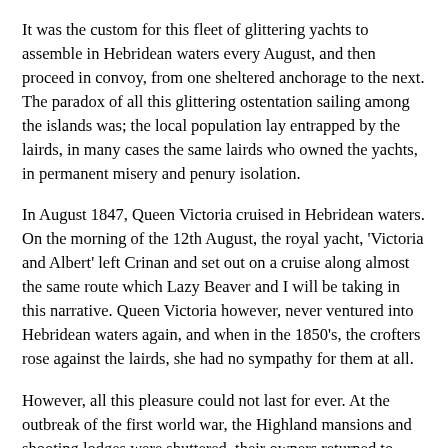It was the custom for this fleet of glittering yachts to assemble in Hebridean waters every August, and then proceed in convoy, from one sheltered anchorage to the next. The paradox of all this glittering ostentation sailing among the islands was; the local population lay entrapped by the lairds, in many cases the same lairds who owned the yachts, in permanent misery and penury isolation.
In August 1847, Queen Victoria cruised in Hebridean waters. On the morning of the 12th August, the royal yacht, 'Victoria and Albert' left Crinan and set out on a cruise along almost the same route which Lazy Beaver and I will be taking in this narrative. Queen Victoria however, never ventured into Hebridean waters again, and when in the 1850's, the crofters rose against the lairds, she had no sympathy for them at all.
However, all this pleasure could not last for ever. At the outbreak of the first world war, the Highland mansions and shooting lodges were shuttered, their owners returned to their Lowland and English estates, and their glittering yachts were sailed south, to become fleet auxiliaries - What then of the crofters - they went to die at Mons and Neuve Chapelle.
The following narrative is the cruise of the yacht Lazy Beaver, not a glittering master piece of the naval architect, but an 8.7 meter